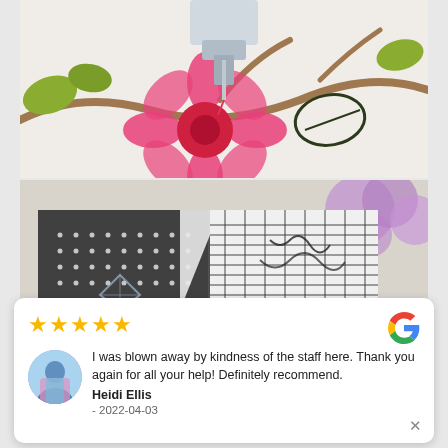[Figure (photo): Close-up of a sewing machine needle stitching a colorful floral embroidery design with pink and red flowers, green leaves and brown branches on white fabric]
[Figure (photo): Decorative patchwork pillow with black and white polka dot and plaid fabric sections, placed on a sofa with purple hydrangea flowers in background]
I was blown away by kindness of the staff here. Thank you again for all your help! Definitely recommend.
Heidi Ellis
- 2022-04-03